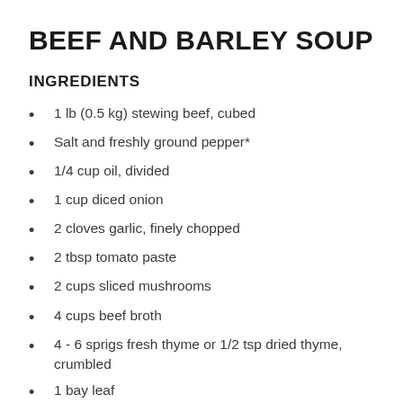BEEF AND BARLEY SOUP
INGREDIENTS
1 lb (0.5 kg) stewing beef, cubed
Salt and freshly ground pepper*
1/4 cup oil, divided
1 cup diced onion
2 cloves garlic, finely chopped
2 tbsp tomato paste
2 cups sliced mushrooms
4 cups beef broth
4 - 6 sprigs fresh thyme or 1/2 tsp dried thyme, crumbled
1 bay leaf